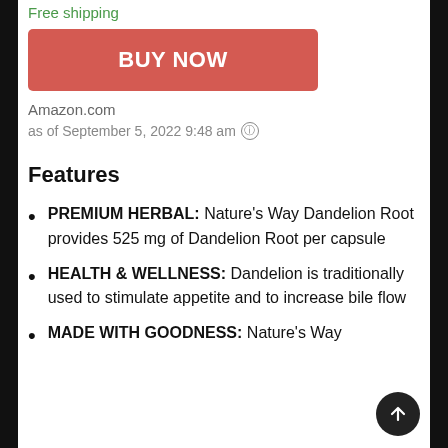Free shipping
BUY NOW
Amazon.com
as of September 5, 2022 9:48 am ℹ
Features
PREMIUM HERBAL: Nature's Way Dandelion Root provides 525 mg of Dandelion Root per capsule
HEALTH & WELLNESS: Dandelion is traditionally used to stimulate appetite and to increase bile flow
MADE WITH GOODNESS: Nature's Way